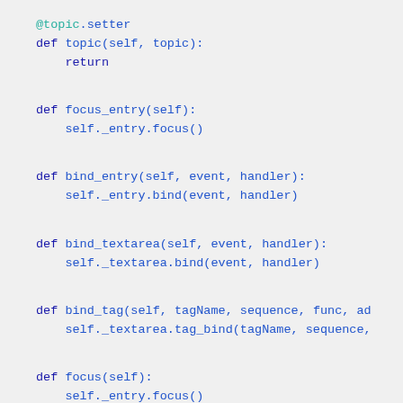[Figure (screenshot): Python source code snippet showing class methods: @topic.setter, focus_entry, bind_entry, bind_textarea, bind_tag, focus, and user_message with syntax highlighting on a light gray background.]